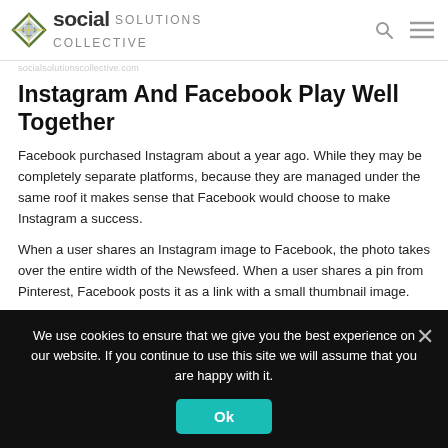Social Solutions Collective
Instagram And Facebook Play Well Together
Facebook purchased Instagram about a year ago. While they may be completely separate platforms, because they are managed under the same roof it makes sense that Facebook would choose to make Instagram a success.
When a user shares an Instagram image to Facebook, the photo takes over the entire width of the Newsfeed. When a user shares a pin from Pinterest, Facebook posts it as a link with a small thumbnail image.
We use cookies to ensure that we give you the best experience on our website. If you continue to use this site we will assume that you are happy with it.